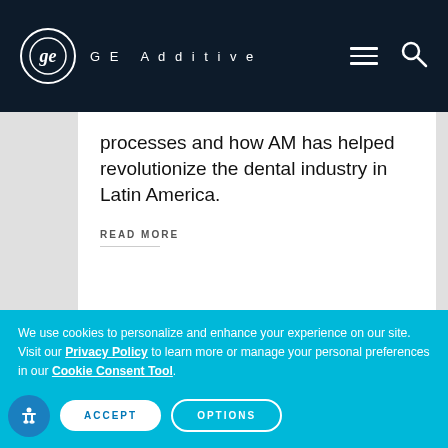[Figure (logo): GE Additive logo and navigation bar with hamburger menu and search icon on dark navy background]
processes and how AM has helped revolutionize the dental industry in Latin America.
READ MORE
[Figure (photo): Bottom portion showing a 3M branded device/product on the left and a grid of dark dots on a light background on the right]
We use cookies to personalize and enhance your experience on our site. Visit our Privacy Policy to learn more or manage your personal preferences in our Cookie Consent Tool.
ACCEPT
OPTIONS